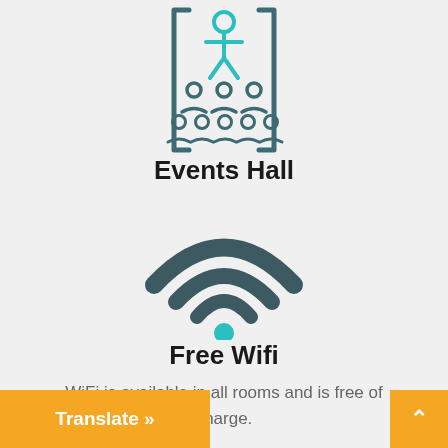[Figure (illustration): Icon of an events hall showing a presenter with audience silhouettes in teal and dark gray]
Events Hall
[Figure (illustration): WiFi symbol icon with three curved arcs in dark gray and a teal dot at the bottom]
Free Wifi
WiFi is available in all rooms and is free of charge.
Translate »
^